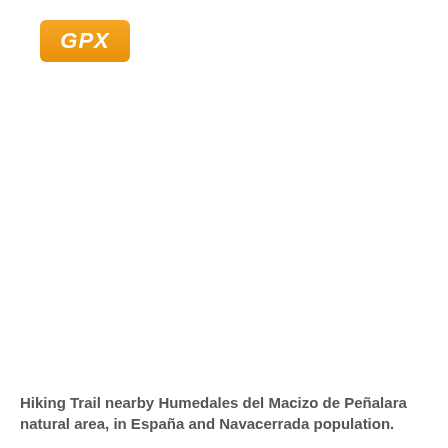[Figure (other): Orange GPX button/badge with italic white text reading 'GPX']
Hiking Trail nearby Humedales del Macizo de Peñalara natural area, in España and Navacerrada population.